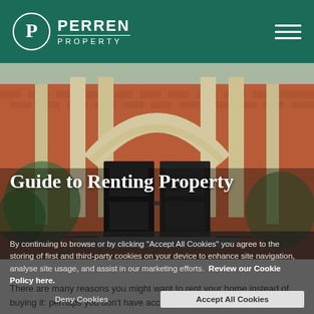[Figure (logo): Perren Property logo with circular P emblem and white text on dark green header bar, with hamburger menu icon on right]
[Figure (photo): Photograph of a grand red-brick building entrance with large arched black double doors, stone columns, ornamental ironwork railings, and surrounding greenery]
Guide to Renting Property
By continuing to browse or by clicking "Accept All Cookies" you agree to the storing of first and third-party cookies on your device to enhance site navigation, analyse site usage, and assist in our marketing efforts.  Review our Cookie Policy here.
There are many reasons you might want to rent your home instead of buying it: perhaps you don't have access to a